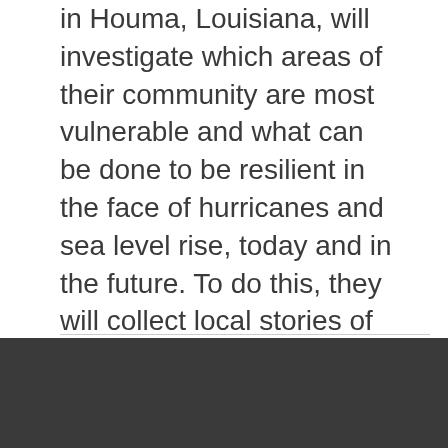in Houma, Louisiana, will investigate which areas of their community are most vulnerable and what can be done to be resilient in the face of hurricanes and sea level rise, today and in the future. To do this, they will collect local stories of coastal erosion, hurricane damage, and disappearing land and compare them with data from the NOAA Digital Coast Tool and the NCAR Cyclone Damage Potential (CDP) Index.
Show More ▼